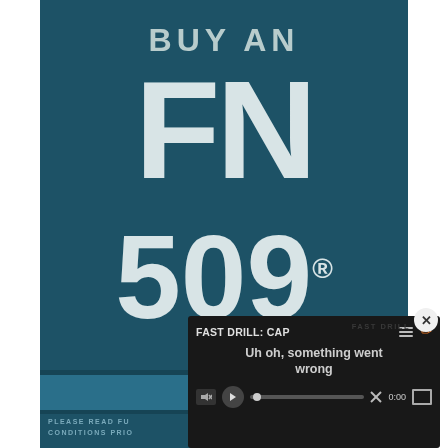[Figure (illustration): Advertisement for FN 509 pistol. Large teal/dark blue background with white bold text reading 'BUY AN FN 509®' stacked vertically. Bottom section has a darker blue bar with 'LEARN' text and fine print reading 'PLEASE READ FULL CONDITIONS PRIOR'.]
[Figure (screenshot): Video player error overlay showing 'FAST DRILL: CAP' title with hamburger menu and pencil icons, mute icon with X, error message 'Uh oh, something went wrong', and video controls including play button, progress bar, X mark, 0:00 timestamp, and fullscreen button. Close button with X in top right corner.]